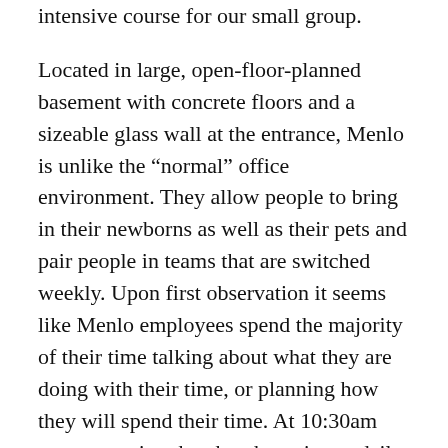intensive course for our small group.
Located in large, open-floor-planned basement with concrete floors and a sizeable glass wall at the entrance, Menlo is unlike the “normal” office environment. They allow people to bring in their newborns as well as their pets and pair people in teams that are switched weekly. Upon first observation it seems like Menlo employees spend the majority of their time talking about what they are doing with their time, or planning how they will spend their time. At 10:30am every morning they break out into a daily scrum where the entire staff form a large circle and pass around a Viking hat, introducing themselves and what they are working on. Weekly there are smaller group meetings to decide on time and budget estimates for each piece of a project. And daily at 3:00pm, they take a walk around the block outside to escape from sitting in a basement all day.
Menlo has become a leader in innovative project